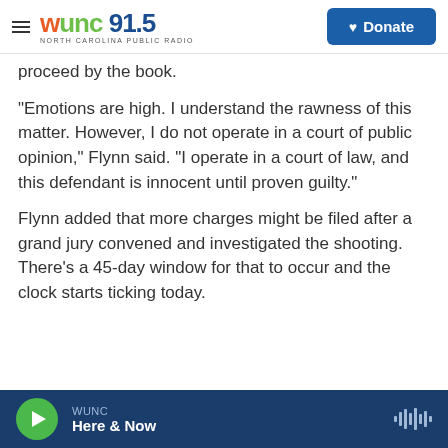WUNC 91.5 NORTH CAROLINA PUBLIC RADIO | Donate
proceed by the book.
"Emotions are high. I understand the rawness of this matter. However, I do not operate in a court of public opinion," Flynn said. "I operate in a court of law, and this defendant is innocent until proven guilty."
Flynn added that more charges might be filed after a grand jury convened and investigated the shooting. There's a 45-day window for that to occur and the clock starts ticking today.
WUNC | Here & Now